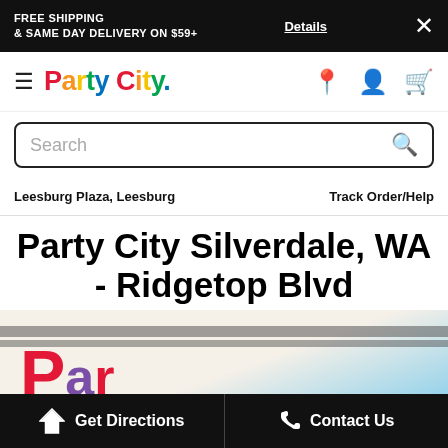FREE SHIPPING & SAME DAY DELIVERY ON $59+ Details ✕
[Figure (logo): Party City logo with colorful letters and hamburger menu icon]
Search
Leesburg Plaza, Leesburg
Track Order/Help
Party City Silverdale, WA - Ridgetop Blvd
[Figure (photo): Party City store exterior photo showing partial sign with large colorful letters]
Get Directions
Contact Us